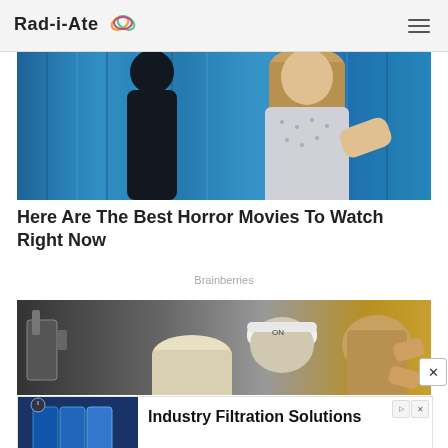Rad-i-Ate
[Figure (photo): A horror movie scene showing two figures in a blue-toned hospital/curtain setting]
Here Are The Best Horror Movies To Watch Right Now
Brainberries
[Figure (photo): People at a sports event, one wearing a white cap, another with blonde hair]
[Figure (photo): Advertisement banner for Great Lakes Filters - Industry Filtration Solutions, showing industrial filtration equipment]